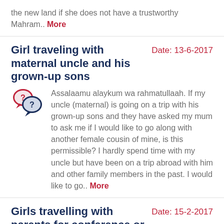the new land if she does not have a trustworthy Mahram.. More
Girl traveling with maternal uncle and his grown-up sons
Date: 13-6-2017
Assalaamu alaykum wa rahmatullaah. If my uncle (maternal) is going on a trip with his grown-up sons and they have asked my mum to ask me if I would like to go along with another female cousin of mine, is this permissible? I hardly spend time with my uncle but have been on a trip abroad with him and other family members in the past. I would like to go.. More
Girls travelling with parents for conference or recreation
Date: 15-2-2017
My sisters want to travel to a scientific conference while accompanied by our father